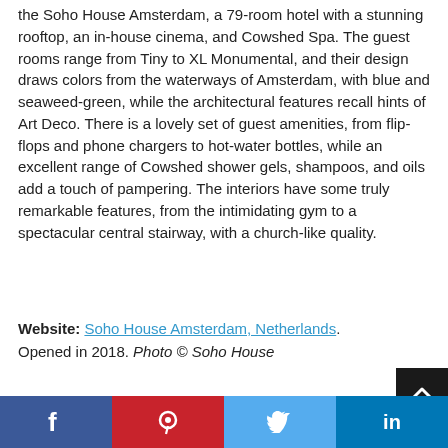the Soho House Amsterdam, a 79-room hotel with a stunning rooftop, an in-house cinema, and Cowshed Spa. The guest rooms range from Tiny to XL Monumental, and their design draws colors from the waterways of Amsterdam, with blue and seaweed-green, while the architectural features recall hints of Art Deco. There is a lovely set of guest amenities, from flip-flops and phone chargers to hot-water bottles, while an excellent range of Cowshed shower gels, shampoos, and oils add a touch of pampering. The interiors have some truly remarkable features, from the intimidating gym to a spectacular central stairway, with a church-like quality.
Website: Soho House Amsterdam, Netherlands. Opened in 2018. Photo © Soho House
[Figure (screenshot): Advertisement for Same Day Chimney Service by OHA Heating and Air with a navigation arrow icon]
Social sharing bar with Facebook, Pinterest, Twitter, LinkedIn buttons